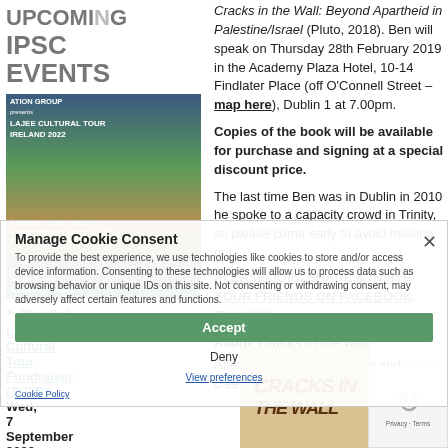UPCOMING IPSC EVENTS
Cracks in the Wall: Beyond Apartheid in Palestine/Israel (Pluto, 2018). Ben will speak on Thursday 28th February 2019 in the Academy Plaza Hotel, 10-14 Findlater Place (off O'Connell Street – map here), Dublin 1 at 7.00pm.
Copies of the book will be available for purchase and signing at a special discount price.
[Figure (photo): Promotional image for Lajee Cultural Tour Ireland 2022 event]
The last time Ben was in Dublin in 2010 he spoke to a capacity crowd in Trinity, so please come early to avoid missing out.
PLEASE JOIN, SHARE & INVITE YOUR FRIENDS ON FACEBOOK, THANKS!
[Dublin] Lajee Cultural Tour Fundraiser (TUFP) Wed, 7 September 2022,
About 'Cracks in the Wall'
After decades of occupation and creeping
[Figure (photo): Book cover for 'Cracks in the Wall']
Manage Cookie Consent — To provide the best experience, we use technologies like cookies to store and/or access device information. Consenting to these technologies will allow us to process data such as browsing behavior or unique IDs on this site. Not consenting or withdrawing consent, may adversely affect certain features and functions.
Accept
Deny
View preferences
Cookie Policy